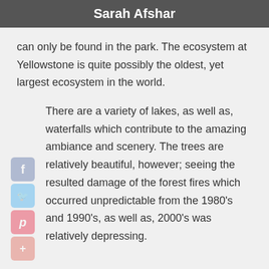Sarah Afshar
can only be found in the park. The ecosystem at Yellowstone is quite possibly the oldest, yet largest ecosystem in the world.
[Figure (illustration): Social media sharing icons: Facebook, Twitter, Pinterest, Google+]
There are a variety of lakes, as well as, waterfalls which contribute to the amazing ambiance and scenery. The trees are relatively beautiful, however; seeing the resulted damage of the forest fires which occurred unpredictable from the 1980's and 1990's, as well as, 2000's was relatively depressing.